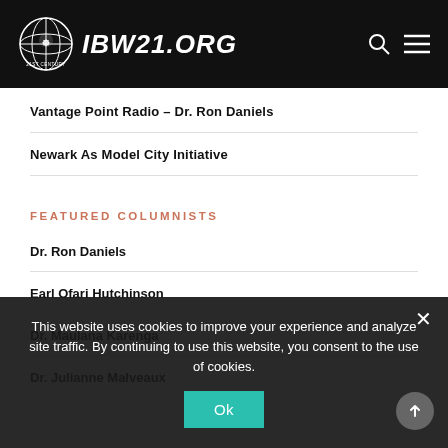IBW21.ORG
Vantage Point Radio – Dr. Ron Daniels
Newark As Model City Initiative
FEATURED COLUMNISTS
Dr. Ron Daniels
Earl Ofari Hutchinson
Dr. Maulana Karenga
Dr. Julianne Malveaux
This website uses cookies to improve your experience and analyze site traffic. By continuing to use this website, you consent to the use of cookies.